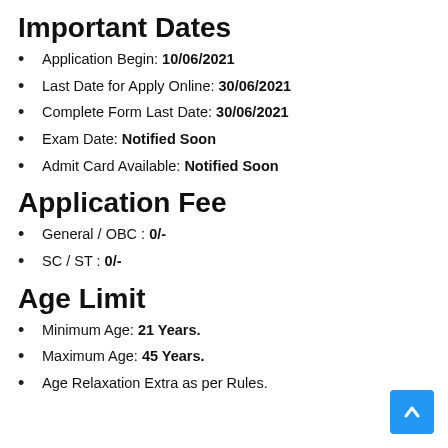Important Dates
Application Begin: 10/06/2021
Last Date for Apply Online: 30/06/2021
Complete Form Last Date: 30/06/2021
Exam Date: Notified Soon
Admit Card Available: Notified Soon
Application Fee
General / OBC : 0/-
SC / ST : 0/-
Age Limit
Minimum Age: 21 Years.
Maximum Age: 45 Years.
Age Relaxation Extra as per Rules.